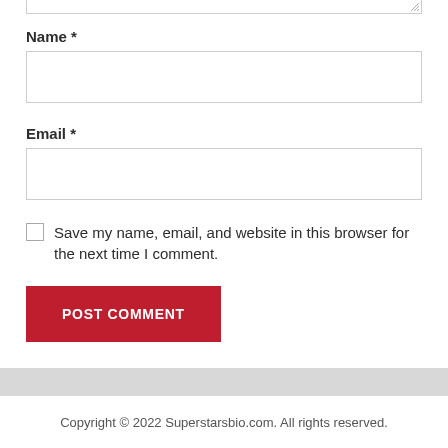Name *
[Figure (other): Name input text field (empty)]
Email *
[Figure (other): Email input text field (empty)]
Save my name, email, and website in this browser for the next time I comment.
[Figure (other): POST COMMENT submit button (red background, white text)]
Copyright © 2022 Superstarsbio.com. All rights reserved.